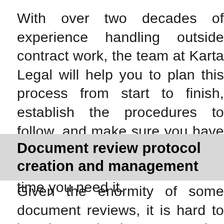With over two decades of experience handling outside contract work, the team at Karta Legal will help you to plan this process from start to finish, establish the procedures to follow, and make sure you have the help you need ready for when you need it and for the time you need it.
Document review protocol creation and management
Given the enormity of some document reviews, it is hard to imagine not having a game plan in advance. We are experts at providing clients with a diverse